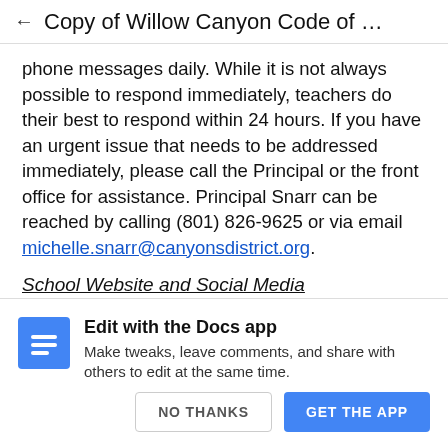← Copy of Willow Canyon Code of …
phone messages daily. While it is not always possible to respond immediately, teachers do their best to respond within 24 hours. If you have an urgent issue that needs to be addressed immediately, please call the Principal or the front office for assistance. Principal Snarr can be reached by calling (801) 826-9625 or via email michelle.snarr@canyonsdistrict.org.
School Website and Social Media
The Willow Canyon website is an excellent source for everything you need to know about Willow
[Figure (screenshot): Google Docs app promotion overlay with blue document icon, title 'Edit with the Docs app', body text 'Make tweaks, leave comments, and share with others to edit at the same time.', and two buttons: 'NO THANKS' and 'GET THE APP']